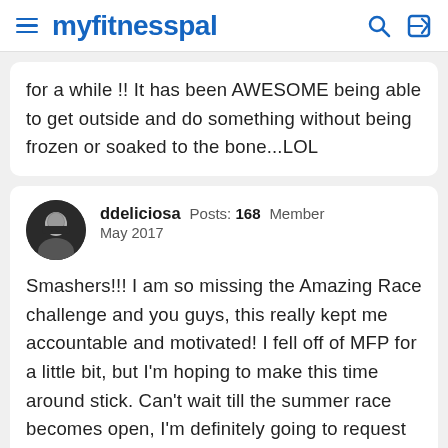myfitnesspal
for a while !! It has been AWESOME being able to get outside and do something without being frozen or soaked to the bone...LOL
ddeliciosa  Posts: 168  Member
May 2017
Smashers!!! I am so missing the Amazing Race challenge and you guys, this really kept me accountable and motivated! I fell off of MFP for a little bit, but I'm hoping to make this time around stick. Can't wait till the summer race becomes open, I'm definitely going to request team four. Can't believe some of y'all are still getting snow! Virginia has been on and off, one week it's a little